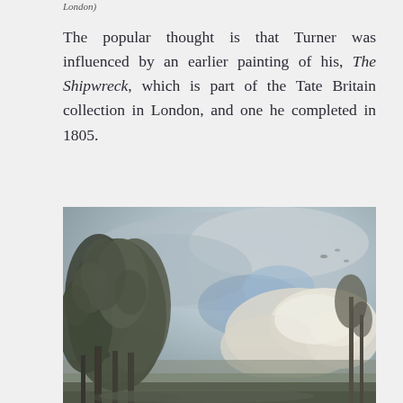London)
The popular thought is that Turner was influenced by an earlier painting of his, The Shipwreck, which is part of the Tate Britain collection in London, and one he completed in 1805.
[Figure (photo): A landscape oil painting showing trees on the left side with a dramatic cloudy sky, rendered in muted greens, grays, and blues in the style of a classical English landscape painting.]